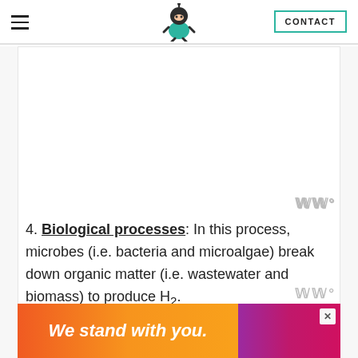CONTACT
4. Biological processes: In this process, microbes (i.e. bacteria and microalgae) break down organic matter (i.e. wastewater and biomass) to produce H₂.
Almost all of the H₂ produced today comes
[Figure (illustration): Advertisement banner with orange-to-pink gradient reading 'We stand with you.' with a close button]